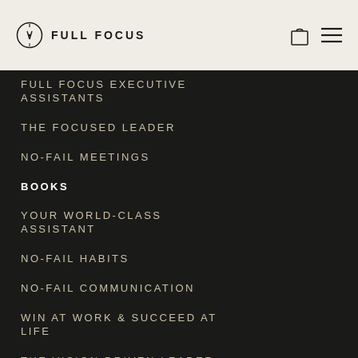FULL FOCUS
FULL FOCUS EXECUTIVE ASSISTANTS
THE FOCUSED LEADER
NO-FAIL MEETINGS
BOOKS
YOUR WORLD-CLASS ASSISTANT
NO-FAIL HABITS
NO-FAIL COMMUNICATION
WIN AT WORK & SUCCEED AT LIFE
THE VISION DRIVEN LEADER